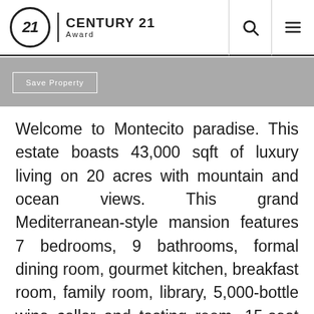CENTURY 21 Award
Save Property
Welcome to Montecito paradise. This estate boasts 43,000 sqft of luxury living on 20 acres with mountain and ocean views. This grand Mediterranean-style mansion features 7 bedrooms, 9 bathrooms, formal dining room, gourmet kitchen, breakfast room, family room, library, 5,000-bottle wine cellar and tasting room, 15-seat movie theater, gym, spa, lounge, a disco/ballroom that